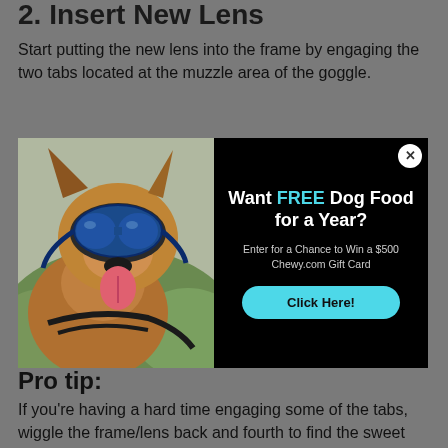2. Insert New Lens
Start putting the new lens into the frame by engaging the two tabs located at the muzzle area of the goggle.
[Figure (photo): A German Shepherd dog wearing blue goggles/doggles, tongue out, looking happy, with a popup overlay on the right half showing a promotional advertisement.]
Want FREE Dog Food for a Year?
Enter for a Chance to Win a $500 Chewy.com Gift Card
Click Here!
Pro tip:
If you're having a hard time engaging some of the tabs, wiggle the frame/lens back and fourth to find the sweet spot.